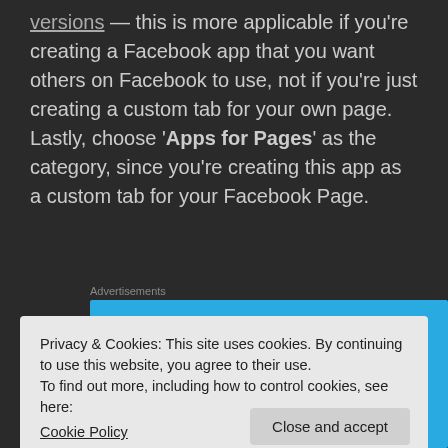versions — this is more applicable if you're creating a Facebook app that you want others on Facebook to use, not if you're just creating a custom tab for your own page. Lastly, choose 'Apps for Pages' as the category, since you're creating this app as a custom tab for your Facebook Page.
Advertisements
[Figure (screenshot): Advertisement banner with blue background showing a phone mockup and bookmark icon]
Privacy & Cookies: This site uses cookies. By continuing to use this website, you agree to their use.
To find out more, including how to control cookies, see here:
Cookie Policy